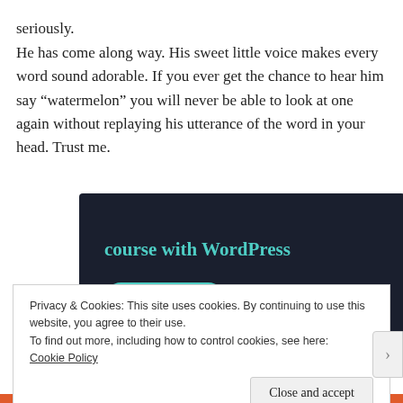seriously.
He has come along way. His sweet little voice makes every word sound adorable. If you ever get the chance to hear him say “watermelon” you will never be able to look at one again without replaying his utterance of the word in your head. Trust me.
[Figure (screenshot): Advertisement banner with dark navy background showing text 'course with WordPress' in teal color and a 'Learn More' teal rounded button]
Privacy & Cookies: This site uses cookies. By continuing to use this website, you agree to their use.
To find out more, including how to control cookies, see here:
Cookie Policy
Close and accept